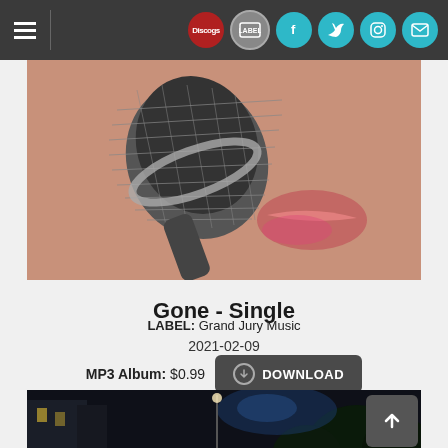Navigation bar with hamburger menu and social icons: Discogs, label, Facebook, Twitter, Instagram, Mail
[Figure (photo): Close-up photo of a person licking a microphone (Shure SM58 style), occupying the upper portion of the page.]
Gone - Single
LABEL: Grand Jury Music
2021-02-09
MP3 Album: $0.99  DOWNLOAD
[Figure (photo): Dark nighttime street scene with buildings and trees, partially visible at bottom of page.]